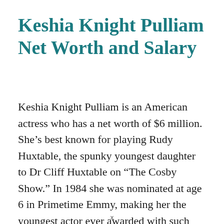Keshia Knight Pulliam Net Worth and Salary
Keshia Knight Pulliam is an American actress who has a net worth of $6 million. She’s best known for playing Rudy Huxtable, the spunky youngest daughter to Dr Cliff Huxtable on “The Cosby Show.” In 1984 she was nominated at age 6 in Primetime Emmy, making her the youngest actor ever awarded with such honor
x